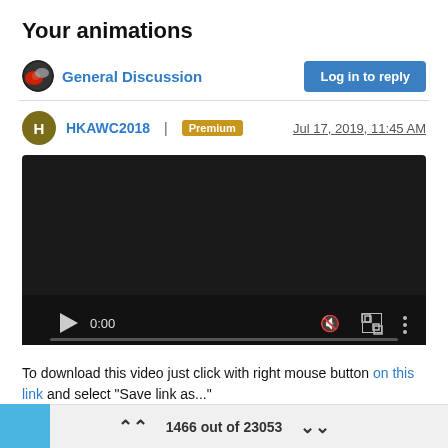Your animations
General Discussion
Log in to reply
HKAWC2018 | Premium   Jul 17, 2019, 11:45 AM
[Figure (screenshot): Video player screenshot showing a dark video player at 0:00 with play button, mute icon, fullscreen icon, and a progress bar at the bottom.]
To download this video just click with right mouse button on this link and select "Save link as..."
This video is licenced under Creative Commons licence (CC-BY 3)
1466 out of 23053